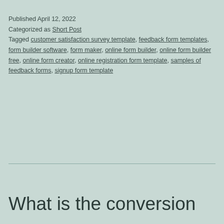Published April 12, 2022
Categorized as Short Post
Tagged customer satisfaction survey template, feedback form templates, form builder software, form maker, online form builder, online form builder free, online form creator, online registration form template, samples of feedback forms, signup form template
What is the conversion